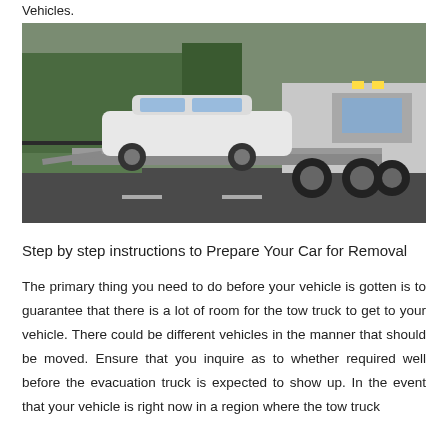Vehicles.
[Figure (photo): A white flatbed tow truck carrying a white sedan car on its bed, photographed outdoors on a road with greenery in the background.]
Step by step instructions to Prepare Your Car for Removal
The primary thing you need to do before your vehicle is gotten is to guarantee that there is a lot of room for the tow truck to get to your vehicle. There could be different vehicles in the manner that should be moved. Ensure that you inquire as to whether required well before the evacuation truck is expected to show up. In the event that your vehicle is right now in a region where the tow truck